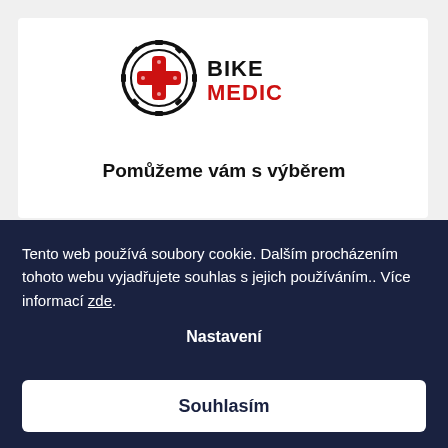[Figure (logo): Bike Medic logo: a black gear/sprocket circle containing a red chain-link cross, with 'BIKE MEDIC' text to the right in black and red]
Pomůžeme vám s výběrem
Tento web používá soubory cookie. Dalším procházením tohoto webu vyjadřujete souhlas s jejich používáním.. Více informací zde.
Nastavení
Souhlasím